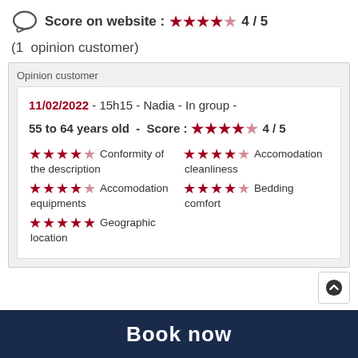Score on website : 4 / 5 (4 filled stars, 1 empty star)
(1  opinion customer)
Opinion customer
11/02/2022 - 15h15 - Nadia - In group - 55 to 64 years old - Score : 4 / 5
Conformity of the description - 4 stars
Accomodation cleanliness - 4 stars
Accomodation equipments - 4 stars
Bedding comfort - 4 stars
Geographic location - 5 stars
Book now